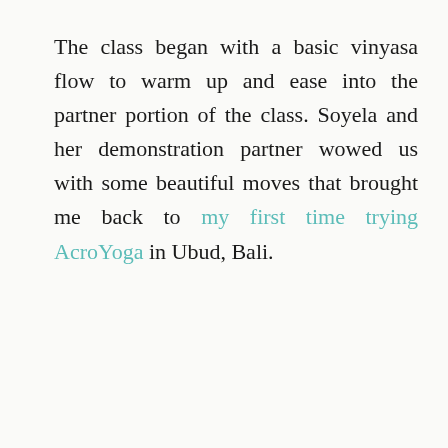The class began with a basic vinyasa flow to warm up and ease into the partner portion of the class. Soyela and her demonstration partner wowed us with some beautiful moves that brought me back to my first time trying AcroYoga in Ubud, Bali.